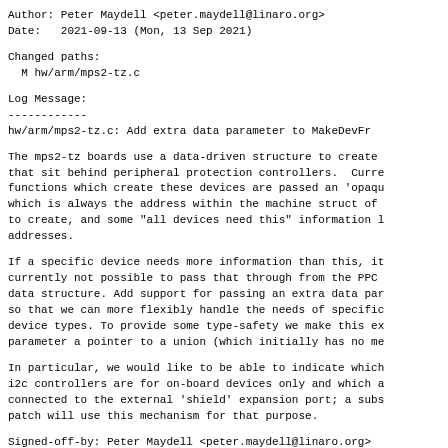Author: Peter Maydell <peter.maydell@linaro.org>
Date:   2021-09-13 (Mon, 13 Sep 2021)
Changed paths:
  M hw/arm/mps2-tz.c
Log Message:
------------
hw/arm/mps2-tz.c: Add extra data parameter to MakeDevFr
The mps2-tz boards use a data-driven structure to create
that sit behind peripheral protection controllers.  Curre
functions which create these devices are passed an 'opaqu
which is always the address within the machine struct of
to create, and some "all devices need this" information l
addresses.
If a specific device needs more information than this, it
currently not possible to pass that through from the PPC
data structure. Add support for passing an extra data par
so that we can more flexibly handle the needs of specific
device types. To provide some type-safety we make this ex
parameter a pointer to a union (which initially has no me
In particular, we would like to be able to indicate which
i2c controllers are for on-board devices only and which a
connected to the external 'shield' expansion port; a subs
patch will use this mechanism for that purpose.
Signed-off-by: Peter Maydell <peter.maydell@linaro.org>